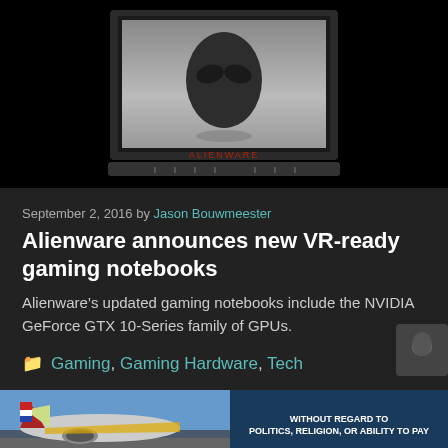[Figure (photo): Alienware gaming laptop displayed against black background, showing the iconic alien head logo on screen]
September 2, 2016 by Jason Bouwmeester
Alienware announces new VR-ready gaming notebooks
Alienware’s updated gaming notebooks include the NVIDIA GeForce GTX 10-Series family of GPUs.
Gaming, Gaming Hardware, Tech
[Figure (photo): Advertisement banner showing cargo plane on tarmac with text WITHOUT REGARD TO]